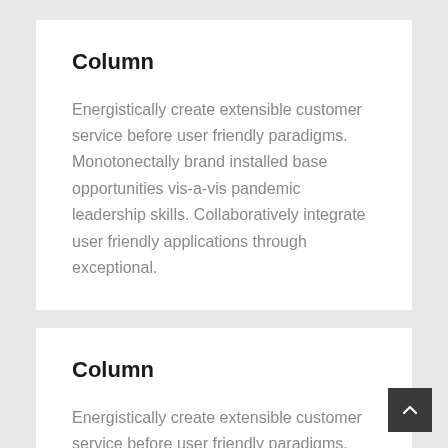Column
Energistically create extensible customer service before user friendly paradigms. Monotonectally brand installed base opportunities vis-a-vis pandemic leadership skills. Collaboratively integrate user friendly applications through exceptional.
Column
Energistically create extensible customer service before user friendly paradigms. Monotonectally brand installed base